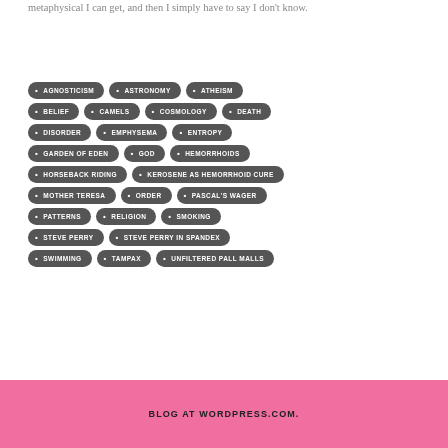metaphysical I can get, and then I simply have to say I don't know.
[Figure (infographic): Tag cloud with dark gray pill/badge shaped tags listing topics: AGNOSTICISM, ASTRONOMY, ATHEISM, BELIEF, CAMELS, COSMOLOGY, DEATH, DISORDER, EMPHYSEMA, ENTROPY, GARDEN OF EDEN, GOD, HEMORRHOIDS, HORSEBACK RIDING, KEROSENE AS HEMORRHOID CURE, MOTHER TERESA, ORDER, PASCAL'S WAGER, PATTERNS, RELIGION, SMOKING, STEVE PERRY, STEVE PERRY IN SPANDEX, SWIMMING, TAMPAX, UNFILTERED PALL MALLS]
BLOG AT WORDPRESS.COM.